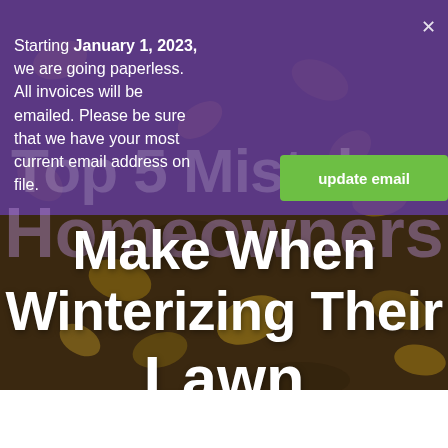[Figure (photo): Background photo of autumn leaves on dark ground, with purple overlay on top half and large faded text 'Top 5 Mistakes Homeowners']
Starting January 1, 2023, we are going paperless. All invoices will be emailed. Please be sure that we have your most current email address on file.
update email
Top 5 Mistakes Homeowners Make When Winterizing Their Lawn